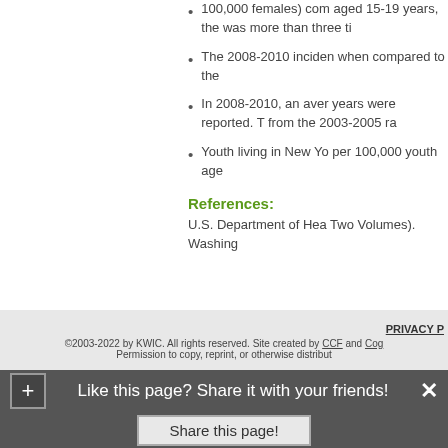100,000 females) com aged 15-19 years, the was more than three ti
The 2008-2010 inciden when compared to the
In 2008-2010, an aver years were reported. T from the 2003-2005 ra
Youth living in New Yo per 100,000 youth age
References:
U.S. Department of Hea Two Volumes). Washing
PRIVACY P ©2003-2022 by KWIC. All rights reserved. Site created by CCF and Cog Permission to copy, reprint, or otherwise distribut
Like this page? Share it with your friends!
Share this page!